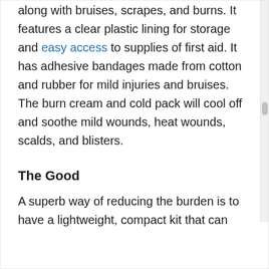along with bruises, scrapes, and burns. It features a clear plastic lining for storage and easy access to supplies of first aid. It has adhesive bandages made from cotton and rubber for mild injuries and bruises. The burn cream and cold pack will cool off and soothe mild wounds, heat wounds, scalds, and blisters.
The Good
A superb way of reducing the burden is to have a lightweight, compact kit that can